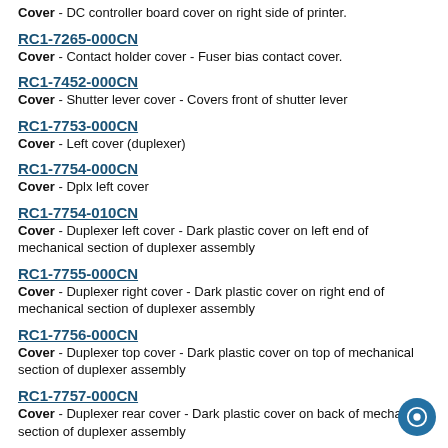Cover - DC controller board cover on right side of printer.
RC1-7265-000CN
Cover - Contact holder cover - Fuser bias contact cover.
RC1-7452-000CN
Cover - Shutter lever cover - Covers front of shutter lever
RC1-7753-000CN
Cover - Left cover (duplexer)
RC1-7754-000CN
Cover - Dplx left cover
RC1-7754-010CN
Cover - Duplexer left cover - Dark plastic cover on left end of mechanical section of duplexer assembly
RC1-7755-000CN
Cover - Duplexer right cover - Dark plastic cover on right end of mechanical section of duplexer assembly
RC1-7756-000CN
Cover - Duplexer top cover - Dark plastic cover on top of mechanical section of duplexer assembly
RC1-7757-000CN
Cover - Duplexer rear cover - Dark plastic cover on back of mechanical section of duplexer assembly
RC1-7803-000CN